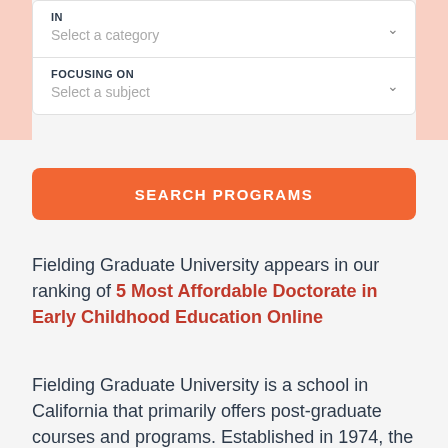IN
Select a category
FOCUSING ON
Select a subject
SEARCH PROGRAMS
Fielding Graduate University appears in our ranking of 5 Most Affordable Doctorate in Early Childhood Education Online
Fielding Graduate University is a school in California that primarily offers post-graduate courses and programs. Established in 1974, the